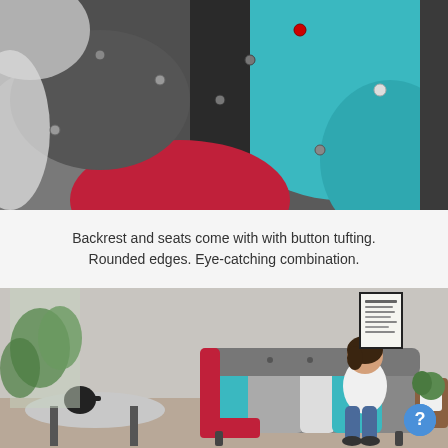[Figure (photo): Close-up photo of a colorful patchwork sofa with button tufting, showing sections of teal, dark gray, red, white, and black fabric panels with decorative buttons.]
Backrest and seats come with with button tufting. Rounded edges. Eye-catching combination.
[Figure (photo): Photo of a woman sitting on a colorful patchwork sofa in a living room setting. The sofa features teal, gray, red, and white fabric panels. A coffee table with a teapot is visible on the left, a plant and side table with a plant on the right, and a framed artwork on the wall behind.]